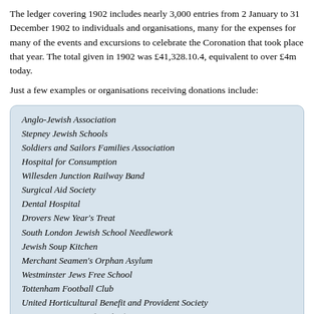The ledger covering 1902 includes nearly 3,000 entries from 2 January to 31 December 1902 to individuals and organisations, many for the expenses for many of the events and excursions to celebrate the Coronation that took place that year. The total given in 1902 was £41,328.10.4, equivalent to over £4m today.
Just a few examples or organisations receiving donations include:
Anglo-Jewish Association
Stepney Jewish Schools
Soldiers and Sailors Families Association
Hospital for Consumption
Willesden Junction Railway Band
Surgical Aid Society
Dental Hospital
Drovers New Year's Treat
South London Jewish School Needlework
Jewish Soup Kitchen
Merchant Seamen's Orphan Asylum
Westminster Jews Free School
Tottenham Football Club
United Horticultural Benefit and Provident Society
Surrey Association for Blind…